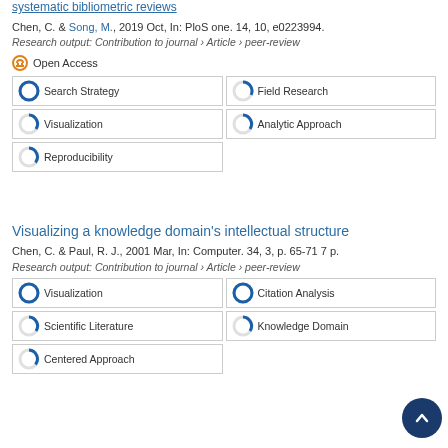Systematic bibliometric reviews
Chen, C. & Song, M., 2019 Oct, In: PloS one. 14, 10, e0223994.
Research output: Contribution to journal › Article › peer-review
Open Access
Search Strategy
Field Research
Visualization
Analytic Approach
Reproducibility
Visualizing a knowledge domain's intellectual structure
Chen, C. & Paul, R. J., 2001 Mar, In: Computer. 34, 3, p. 65-71 7 p.
Research output: Contribution to journal › Article › peer-review
Visualization
Citation Analysis
Scientific Literature
Knowledge Domain
Centered Approach